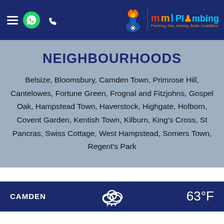MML Plumbing — navigation header with hamburger menu, WhatsApp icon, phone icon, and MML Plumbing logo
NEIGHBOURHOODS
Belsize, Bloomsbury, Camden Town, Primrose Hill, Cantelowes, Fortune Green, Frognal and Fitzjohns, Gospel Oak, Hampstead Town, Haverstock, Highgate, Holborn, Covent Garden, Kentish Town, Kilburn, King's Cross, St Pancras, Swiss Cottage, West Hampstead, Somers Town, Regent's Park
CAMDEN  63°F